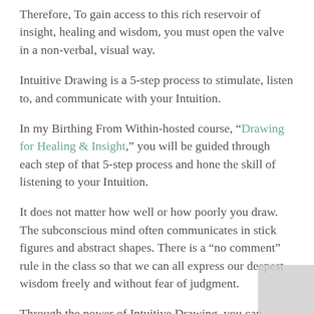Therefore, To gain access to this rich reservoir of insight, healing and wisdom, you must open the valve in a non-verbal, visual way.
Intuitive Drawing is a 5-step process to stimulate, listen to, and communicate with your Intuition.
In my Birthing From Within-hosted course, “Drawing for Healing & Insight,” you will be guided through each step of that 5-step process and hone the skill of listening to your Intuition.
It does not matter how well or how poorly you draw. The subconscious mind often communicates in stick figures and abstract shapes. There is a “no comment” rule in the class so that we can all express our deepest wisdom freely and without fear of judgment.
Through the power of Intuitive Drawing, you can SPEND TIME immersed in conversation with your Intuition, getting downloads and direct answers to